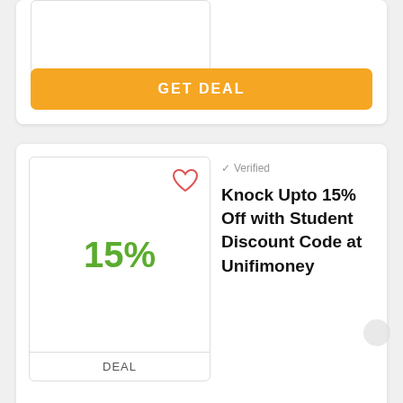[Figure (screenshot): Partial deal card at top showing a DEAL label and orange GET DEAL button]
GET DEAL
[Figure (screenshot): Deal card showing 15% discount with heart icon, Verified label, deal title and GET DEAL button]
✓ Verified
Knock Upto 15% Off with Student Discount Code at Unifimoney
GET DEAL
[Figure (screenshot): Partial deal card at bottom showing heart icon and Verified label]